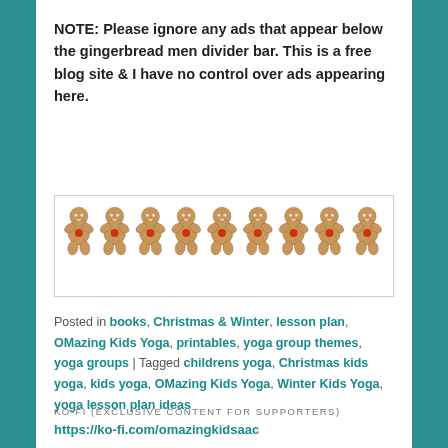NOTE: Please ignore any ads that appear below the gingerbread men divider bar. This is a free blog site & I have no control over ads appearing here.
[Figure (illustration): A row of gingerbread man figures holding hands, forming a divider bar. Each gingerbread man has a red heart on its chest. The figures are tan/brown colored and arranged in a horizontal line inside a light gray bordered box.]
Posted in books, Christmas & Winter, lesson plan, OMazing Kids Yoga, printables, yoga group themes, yoga groups | Tagged childrens yoga, Christmas kids yoga, kids yoga, OMazing Kids Yoga, Winter Kids Yoga, yoga lesson plan ideas
KO-FI (EXCLUSIVE CONTENT FOR SUPPORTERS)
https://ko-fi.com/omazingkidsaac